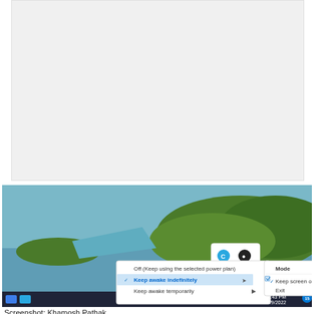[Figure (screenshot): Gray blank area representing a screenshot placeholder or blank desktop area]
[Figure (screenshot): Windows 11 desktop screenshot showing a system tray context menu for PowerToys Awake with options: Off (Keep using the selected power plan), Keep awake indefinitely (checked/selected, highlighted in blue), Keep awake temporarily with submenu arrow. A secondary submenu shows Mode with arrow, Keep screen on (checked), and Exit. The taskbar shows system tray icons, time 12:43 PM, date 3/9/2022, and various notification area icons.]
Screenshot: Khamosh Pathak